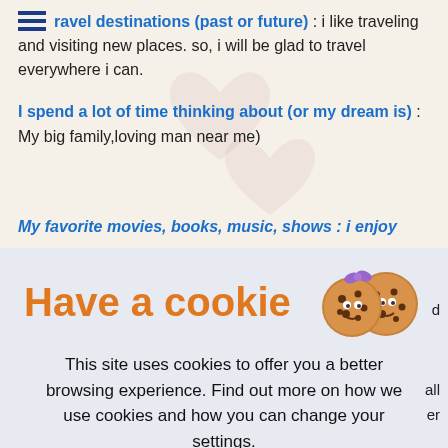travel destinations (past or future) : i like traveling and visiting new places. so, i will be glad to travel everywhere i can.
I spend a lot of time thinking about (or my dream is) : My big family,loving man near me)
My favorite movies, books, music, shows : i enjoy
[Figure (screenshot): Cookie consent overlay with 'Have a cookie' title, two cookie emojis, descriptive text about cookies, Accept All button, and Cookie settings page link]
Have a cookie
This site uses cookies to offer you a better browsing experience. Find out more on how we use cookies and how you can change your settings.
Accept All
Cookie settings page